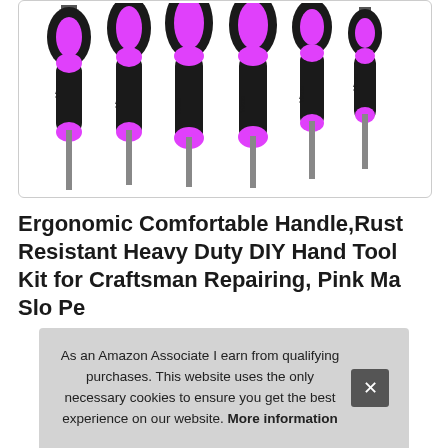[Figure (photo): Six pink and black screwdrivers of varying sizes arranged side by side, all with the Visco brand logo on the handles, showing both Phillips and flat head types.]
Ergonomic Comfortable Handle,Rust Resistant Heavy Duty DIY Hand Tool Kit for Craftsman Repairing, Pink Ma Slo Pe
As an Amazon Associate I earn from qualifying purchases. This website uses the only necessary cookies to ensure you get the best experience on our website. More information